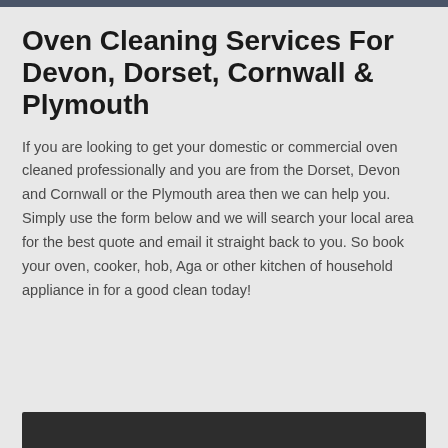Oven Cleaning Services For Devon, Dorset, Cornwall & Plymouth
If you are looking to get your domestic or commercial oven cleaned professionally and you are from the Dorset, Devon and Cornwall or the Plymouth area then we can help you. Simply use the form below and we will search your local area for the best quote and email it straight back to you. So book your oven, cooker, hob, Aga or other kitchen of household appliance in for a good clean today!